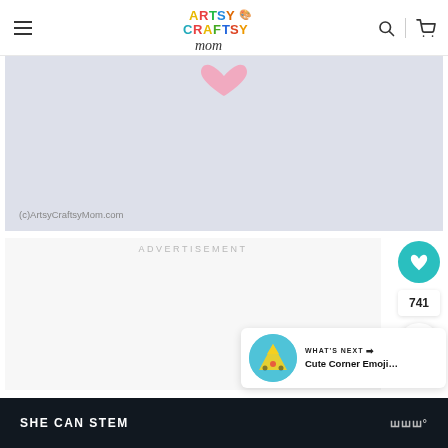Artsy Craftsy Mom navigation bar with logo, search and cart icons
[Figure (screenshot): Cropped photo showing light gray background with pink heart shape at top, watermark text (c)ArtsyCraftsyMom.com at bottom left]
ADVERTISEMENT
[Figure (infographic): Social sidebar with teal heart button (like/save), count 741, and white share button]
741
[Figure (screenshot): What's Next card showing circular thumbnail of colorful emoji craft and text: WHAT'S NEXT → Cute Corner Emoji...]
SHE CAN STEM